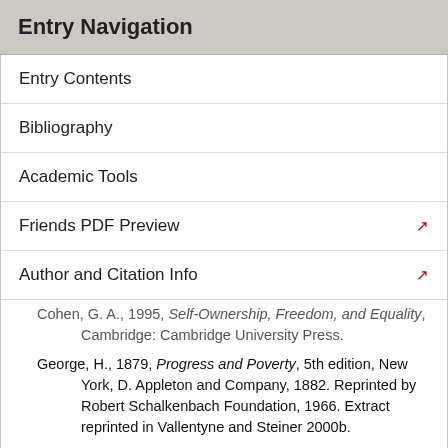Entry Navigation
Entry Contents
Bibliography
Academic Tools
Friends PDF Preview
Author and Citation Info
Cohen, G. A., 1995, Self-Ownership, Freedom, and Equality, Cambridge: Cambridge University Press.
George, H., 1879, Progress and Poverty, 5th edition, New York, D. Appleton and Company, 1882. Reprinted by Robert Schalkenbach Foundation, 1966. Extract reprinted in Vallentyne and Steiner 2000b.
Grunebaum, J., 1987, Private Ownership, New York: Routledge & Kegan Paul. Extract reprinted in Vallentyne and Steiner 2000a.
Otsuka, M., 2003, Libertarianism without Inequality, Oxford: Clarendon Press.